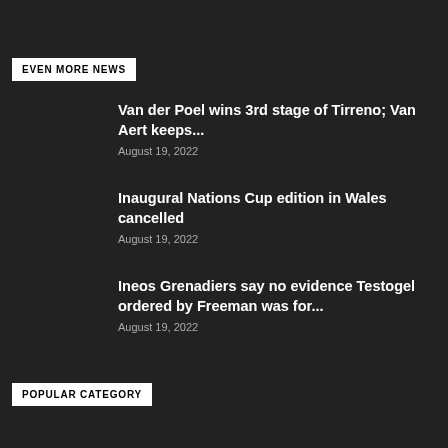EVEN MORE NEWS
Van der Poel wins 3rd stage of Tirreno; Van Aert keeps...
August 19, 2022
Inaugural Nations Cup edition in Wales cancelled
August 19, 2022
Ineos Grenadiers say no evidence Testogel ordered by Freeman was for...
August 19, 2022
POPULAR CATEGORY